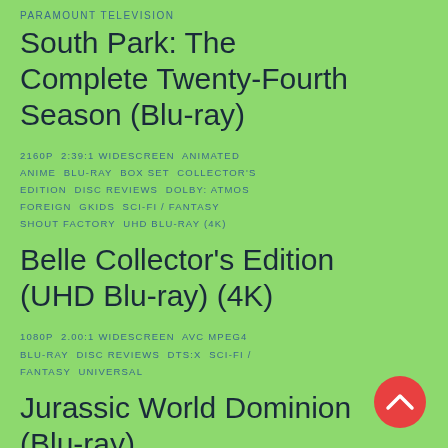PARAMOUNT TELEVISION
South Park: The Complete Twenty-Fourth Season (Blu-ray)
2160P  2:39:1 WIDESCREEN  ANIMATED  ANIME  BLU-RAY  BOX SET  COLLECTOR'S EDITION  DISC REVIEWS  DOLBY: ATMOS  FOREIGN  GKIDS  SCI-FI / FANTASY  SHOUT FACTORY  UHD BLU-RAY (4K)
Belle Collector's Edition (UHD Blu-ray) (4K)
1080P  2.00:1 WIDESCREEN  AVC MPEG4  BLU-RAY  DISC REVIEWS  DTS:X  SCI-FI / FANTASY  UNIVERSAL
Jurassic World Dominion (Blu-ray)